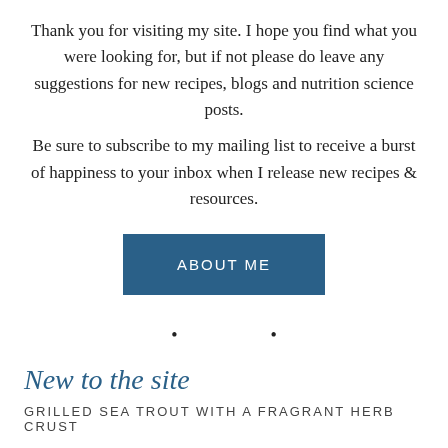Thank you for visiting my site. I hope you find what you were looking for, but if not please do leave any suggestions for new recipes, blogs and nutrition science posts. Be sure to subscribe to my mailing list to receive a burst of happiness to your inbox when I release new recipes & resources.
[Figure (other): A teal/dark blue rectangular button with white uppercase text reading 'ABOUT ME']
• •
New to the site
GRILLED SEA TROUT WITH A FRAGRANT HERB CRUST